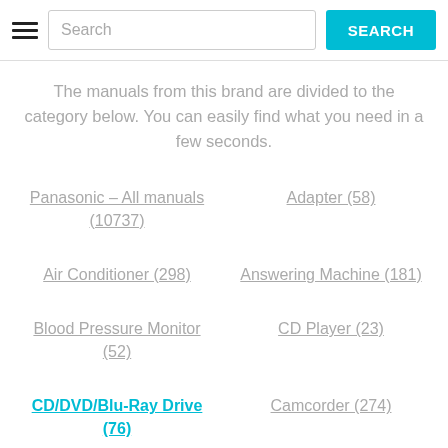Search
The manuals from this brand are divided to the category below. You can easily find what you need in a few seconds.
Panasonic - All manuals (10737)
Adapter (58)
Air Conditioner (298)
Answering Machine (181)
Blood Pressure Monitor (52)
CD Player (23)
CD/DVD/Blu-Ray Drive (76)
Camcorder (274)